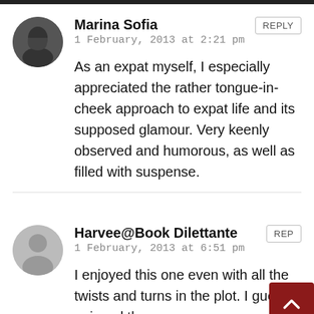Marina Sofia
1 February, 2013 at 2:21 pm
As an expat myself, I especially appreciated the rather tongue-in-cheek approach to expat life and its supposed glamour. Very keenly observed and humorous, as well as filled with suspense.
Harvee@Book Dilettante
1 February, 2013 at 6:51 pm
I enjoyed this one even with all the twists and turns in the plot. I guess I enjoyed the